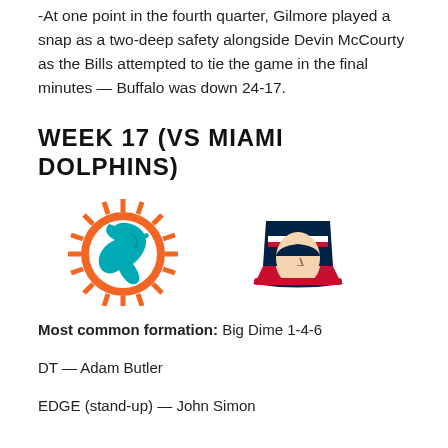-At one point in the fourth quarter, Gilmore played a snap as a two-deep safety alongside Devin McCourty as the Bills attempted to tie the game in the final minutes — Buffalo was down 24-17.
WEEK 17 (VS MIAMI DOLPHINS)
[Figure (logo): Miami Dolphins logo and New England Patriots logo side by side]
Most common formation: Big Dime 1-4-6
DT — Adam Butler
EDGE (stand-up) — John Simon